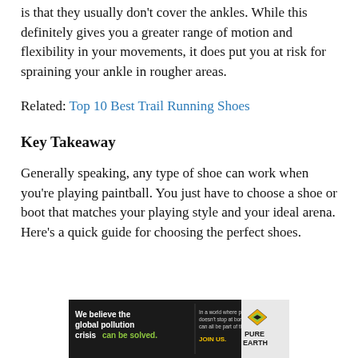is that they usually don’t cover the ankles. While this definitely gives you a greater range of motion and flexibility in your movements, it does put you at risk for spraining your ankle in rougher areas.
Related: Top 10 Best Trail Running Shoes
Key Takeaway
Generally speaking, any type of shoe can work when you’re playing paintball. You just have to choose a shoe or boot that matches your playing style and your ideal arena. Here’s a quick guide for choosing the perfect shoes.
[Figure (other): Advertisement banner for Pure Earth: 'We believe the global pollution crisis can be solved.' with tagline about pollution not stopping at borders and call to action 'JOIN US.']